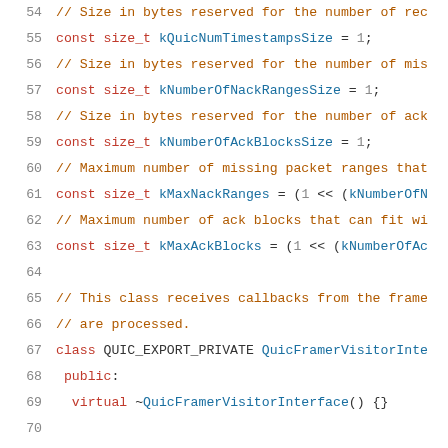[Figure (screenshot): Source code listing showing C++ code for QUIC protocol implementation, lines 54-75, with line numbers in gray, comments in orange/brown, keywords in red, and identifiers in blue, on white background.]